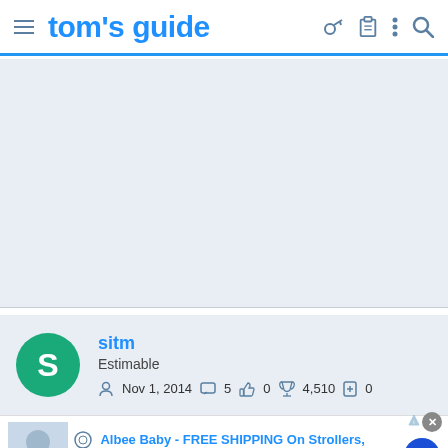tom's guide
[Figure (screenshot): Gray/light blue empty advertisement area placeholder]
sitm
Estimable
Nov 1, 2014   5   0   4,510   0
[Figure (infographic): Advertisement banner: Albee Baby - FREE SHIPPING On Strollers, Shop Albee Baby For A Huge Selection Of Baby Gear Includi..., www.albeebaby.com]